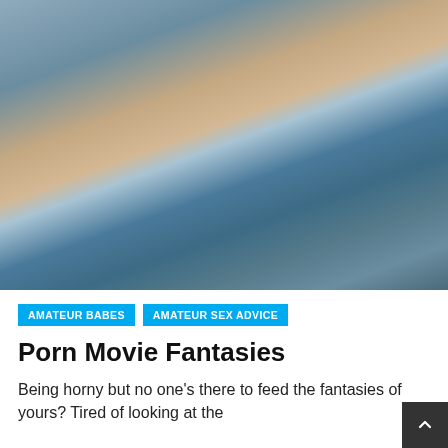[Figure (photo): Woman in a blue floral patterned top outdoors near a stone wall and tree]
AMATEUR BABES
AMATEUR SEX ADVICE
Porn Movie Fantasies
Being horny but no one's there to feed the fantasies of yours? Tired of looking at the